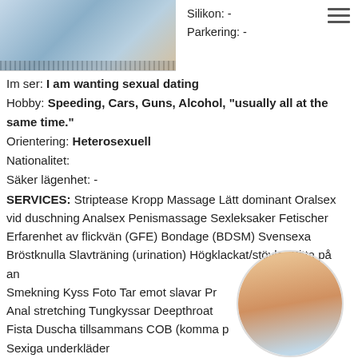[Figure (photo): Partial photo of person in jeans, cropped at top]
Silikon: -
Parkering: -
Im ser: I am wanting sexual dating
Hobby: Speeding, Cars, Guns, Alcohol, "usually all at the same time."
Orientering: Heterosexuell
Nationalitet:
Säker lägenhet: -
SERVICES: Striptease Kropp Massage Lätt dominant Oralsex vid duschning Analsex Penismassage Sexleksaker Fetischer Erfarenhet av flickvän (GFE) Bondage (BDSM) Svensexa Bröstknulla Slavträning (urination) Högklackat/stövlar Sitta på an Smekning Kyss Foto Tar emot slavar Pr Anal stretching Tungkyssar Deepthroat Fista Duscha tillsammans COB (komma p Sexiga underkläder
[Figure (photo): Circular cropped photo of person holding mask]